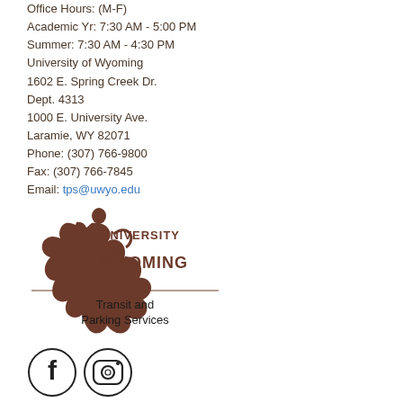Office Hours: (M-F)
Academic Yr: 7:30 AM - 5:00 PM
Summer: 7:30 AM - 4:30 PM
University of Wyoming
1602 E. Spring Creek Dr.
Dept. 4313
1000 E. University Ave.
Laramie, WY 82071
Phone: (307) 766-9800
Fax: (307) 766-7845
Email: tps@uwyo.edu
[Figure (logo): University of Wyoming logo with bucking horse and text 'UNIVERSITY OF WYOMING' followed by a horizontal rule and 'Transit and Parking Services']
[Figure (illustration): Facebook and Instagram social media icons]